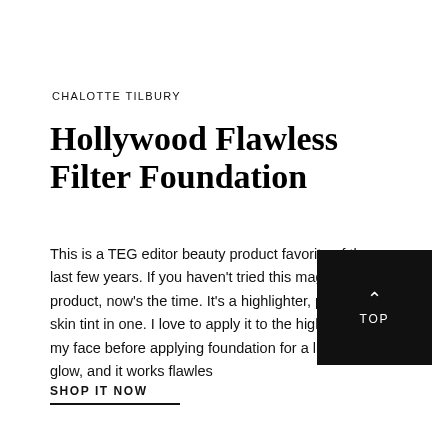CHALOTTE TILBURY
Hollywood Flawless Filter Foundation
This is a TEG editor beauty product favorite of the last few years. If you haven't tried this magic do-it-all product, now's the time. It's a highlighter, primer, and skin tint in one. I love to apply it to the high points of my face before applying foundation for a little extra glow, and it works flawles…
SHOP IT NOW